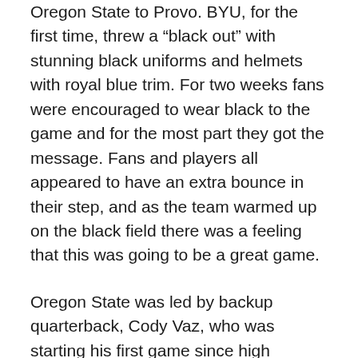Oregon State to Provo. BYU, for the first time, threw a "black out" with stunning black uniforms and helmets with royal blue trim. For two weeks fans were encouraged to wear black to the game and for the most part they got the message. Fans and players all appeared to have an extra bounce in their step, and as the team warmed up on the black field there was a feeling that this was going to be a great game.
Oregon State was led by backup quarterback, Cody Vaz, who was starting his first game since high school. Vaz looked like anything but a backup quarterback, leading the Beavers to a 42-24 victory with a nearly flawless passing performance, torching the Cougar secondary for 332 yards and three touchdowns. The BYU defense, which had been touted as one of the top defenses in the nation this season, was humbled. Vaz benefited from throwing to